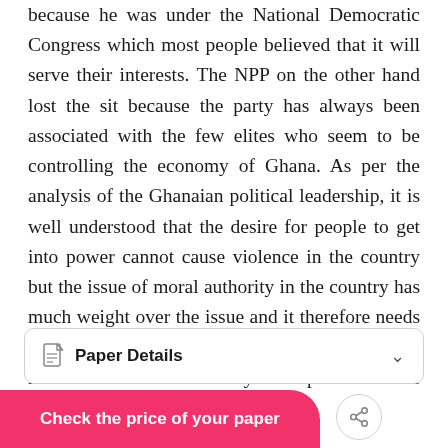because he was under the National Democratic Congress which most people believed that it will serve their interests. The NPP on the other hand lost the sit because the party has always been associated with the few elites who seem to be controlling the economy of Ghana. As per the analysis of the Ghanaian political leadership, it is well understood that the desire for people to get into power cannot cause violence in the country but the issue of moral authority in the country has much weight over the issue and it therefore needs to be established to deal with the electoral misconducts for the country to reap the fruits of democracy.
Paper Details
Check the price of your paper